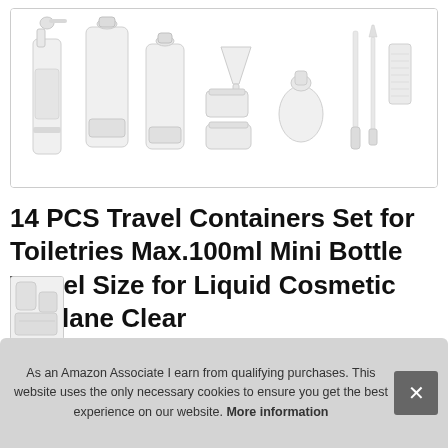[Figure (illustration): Product image showing 14-piece travel container set: spray bottle, tube containers, small jars, round bottle, funnel, lip brush and scrub brush — all in clear/frosted white plastic on white background]
14 PCS Travel Containers Set for Toiletries Max.100ml Mini Bottle Travel Size for Liquid Cosmetic Airplane Clear
As an Amazon Associate I earn from qualifying purchases. This website uses the only necessary cookies to ensure you get the best experience on our website. More information